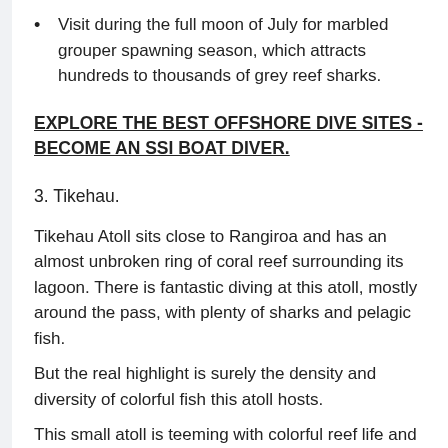Visit during the full moon of July for marbled grouper spawning season, which attracts hundreds to thousands of grey reef sharks.
EXPLORE THE BEST OFFSHORE DIVE SITES - BECOME AN SSI BOAT DIVER.
3. Tikehau.
Tikehau Atoll sits close to Rangiroa and has an almost unbroken ring of coral reef surrounding its lagoon. There is fantastic diving at this atoll, mostly around the pass, with plenty of sharks and pelagic fish.
But the real highlight is surely the density and diversity of colorful fish this atoll hosts.
This small atoll is teeming with colorful reef life and was thought by Jacques Cousteau to have the highest concentration of fish life in the Tuamotu Islands.
Tikehau is also one of the most reliable places in the Tuamotus for snorkeling and diving with manta rays.
READ MORE: 11 GREAT REASONS TO GO DIVING IN BORA BORA.